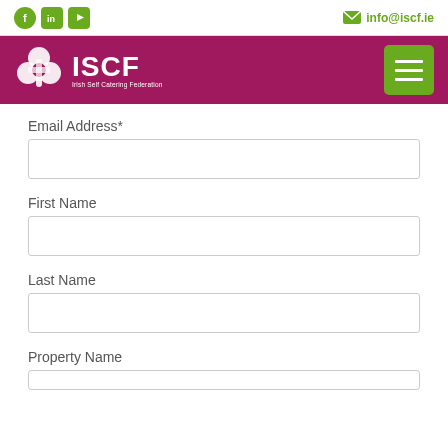Social icons (Facebook, LinkedIn, YouTube) | info@iscf.ie
[Figure (logo): ISCF Irish Self Catering Federation logo on maroon/purple background with hamburger menu button]
Email Address*
First Name
Last Name
Property Name